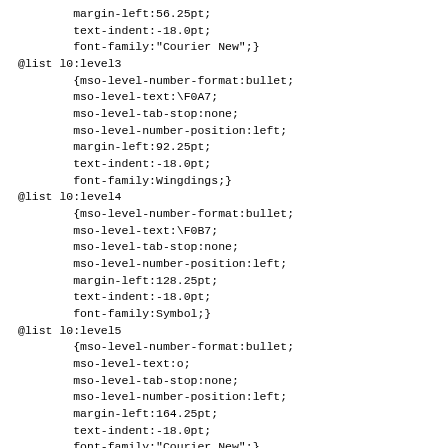margin-left:56.25pt;
        text-indent:-18.0pt;
        font-family:"Courier New";}
@list l0:level3
        {mso-level-number-format:bullet;
        mso-level-text:\F0A7;
        mso-level-tab-stop:none;
        mso-level-number-position:left;
        margin-left:92.25pt;
        text-indent:-18.0pt;
        font-family:Wingdings;}
@list l0:level4
        {mso-level-number-format:bullet;
        mso-level-text:\F0B7;
        mso-level-tab-stop:none;
        mso-level-number-position:left;
        margin-left:128.25pt;
        text-indent:-18.0pt;
        font-family:Symbol;}
@list l0:level5
        {mso-level-number-format:bullet;
        mso-level-text:o;
        mso-level-tab-stop:none;
        mso-level-number-position:left;
        margin-left:164.25pt;
        text-indent:-18.0pt;
        font-family:"Courier New";}
@list l0:level6
        {mso-level-number-format:bullet;
        mso-level-text:\F0A7;